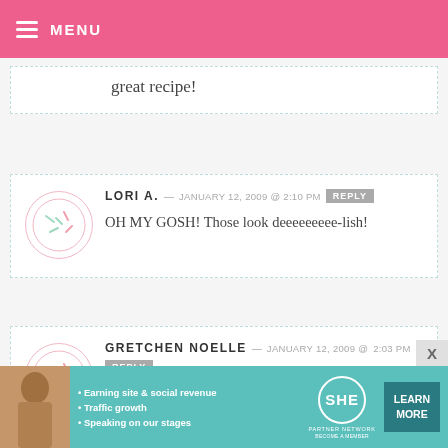MENU
great recipe!
LORI A. — JANUARY 12, 2009 @ 2:10 PM  REPLY
OH MY GOSH! Those look deeeeeeeee-lish!
GRETCHEN NOELLE — JANUARY 12, 2009 @ 2:03 PM  REPLY
That was awfully nice of Betty! Looks
[Figure (infographic): SHE Partner Network advertisement banner with photo, bullet points, logo and Learn More button]